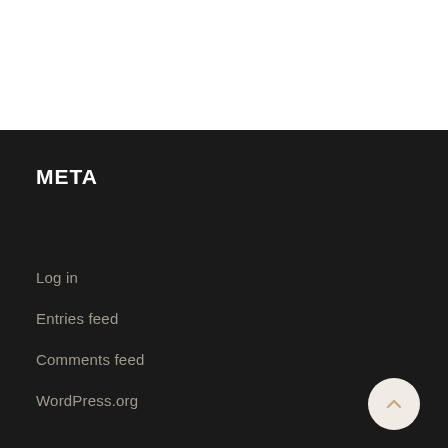META
Log in
Entries feed
Comments feed
WordPress.org